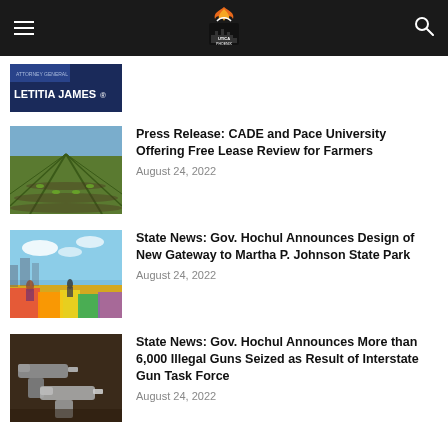Utica Phoenix — site header with hamburger menu and search icon
[Figure (screenshot): Partial thumbnail showing Attorney General Letitia James banner]
[Figure (photo): Farm field with rows of crops receding into distance]
Press Release: CADE and Pace University Offering Free Lease Review for Farmers
August 24, 2022
[Figure (photo): Colorful outdoor park scene with crowds and vivid rainbow ground painting]
State News: Gov. Hochul Announces Design of New Gateway to Martha P. Johnson State Park
August 24, 2022
[Figure (photo): Close-up photo of handguns on a surface]
State News: Gov. Hochul Announces More than 6,000 Illegal Guns Seized as Result of Interstate Gun Task Force
August 24, 2022